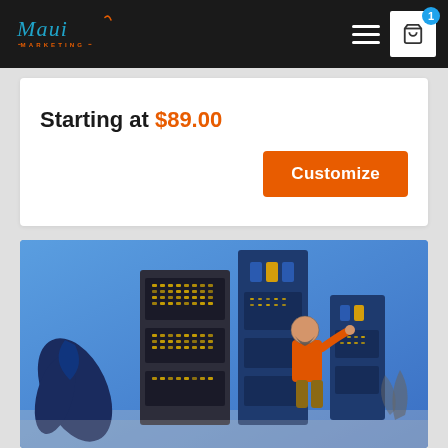Maui Marketing
Starting at $89.00
Customize
[Figure (illustration): Server rack / data center illustration with a technician on a blue gradient background, decorative plants in foreground]